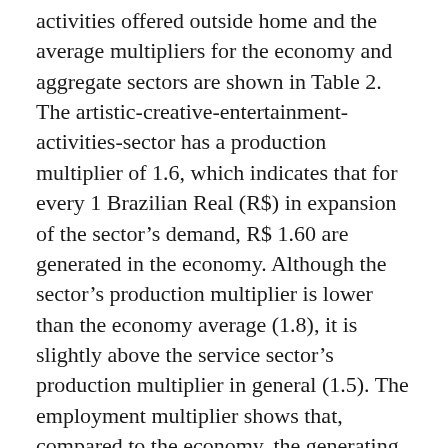activities offered outside home and the average multipliers for the economy and aggregate sectors are shown in Table 2. The artistic-creative-entertainment-activities-sector has a production multiplier of 1.6, which indicates that for every 1 Brazilian Real (R$) in expansion of the sector's demand, R$ 1.60 are generated in the economy. Although the sector's production multiplier is lower than the economy average (1.8), it is slightly above the service sector's production multiplier in general (1.5). The employment multiplier shows that, compared to the economy, the generating effect of the artistic-creative-entertainment-activities-sector is low. Each 1 job created in the sector has 1.2 direct and